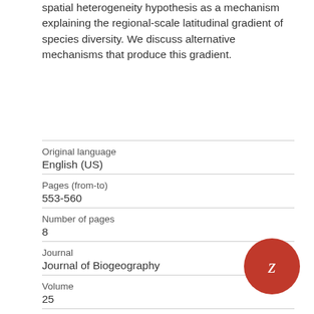spatial heterogeneity hypothesis as a mechanism explaining the regional-scale latitudinal gradient of species diversity. We discuss alternative mechanisms that produce this gradient.
| Original language | English (US) |
| Pages (from-to) | 553-560 |
| Number of pages | 8 |
| Journal | Journal of Biogeography |
| Volume | 25 |
| Issue number | 3 |
| State | published |